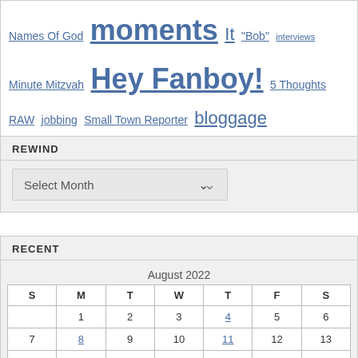Names Of God moments It "Bob" interviews Minute Mitzvah Hey Fanboy! 5 Thoughts RAW jobbing Small Town Reporter bloggage
REWIND
Select Month
RECENT
| S | M | T | W | T | F | S |
| --- | --- | --- | --- | --- | --- | --- |
|  | 1 | 2 | 3 | 4 | 5 | 6 |
| 7 | 8 | 9 | 10 | 11 | 12 | 13 |
| 14 | 15 | 16 | 17 | 18 | 19 | 20 |